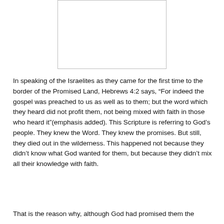[Figure (other): White rectangular image placeholder with a light gray border, positioned at the top center of the page.]
In speaking of the Israelites as they came for the first time to the border of the Promised Land, Hebrews 4:2 says, “For indeed the gospel was preached to us as well as to them; but the word which they heard did not profit them, not being mixed with faith in those who heard it”(emphasis added). This Scripture is referring to God’s people. They knew the Word. They knew the promises. But still, they died out in the wilderness. This happened not because they didn’t know what God wanted for them, but because they didn’t mix all their knowledge with faith.
That is the reason why, although God had promised them the